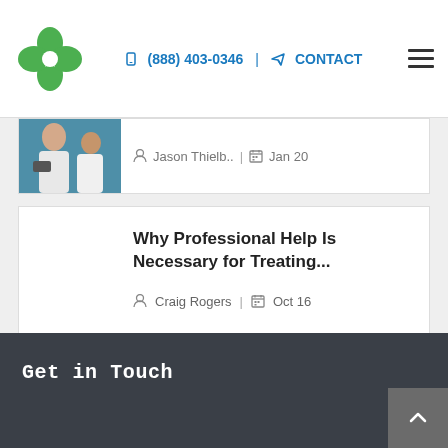(888) 403-0346 | CONTACT
[Figure (photo): Partial photo of two people, one appears to be using a smartphone, cropped at top of card]
Jason Thielb.. | Jan 20
Why Professional Help Is Necessary for Treating...
Craig Rogers | Oct 16
Get in Touch